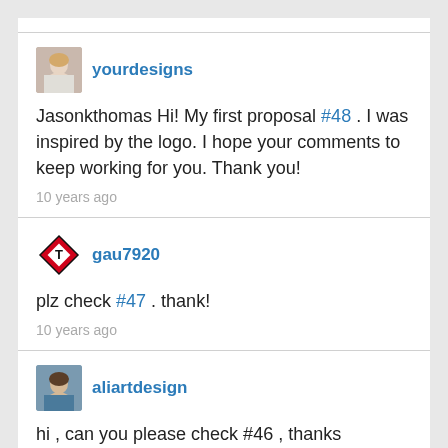[Figure (screenshot): Screenshot of comment thread with three user comments]
yourdesigns
Jasonkthomas Hi! My first proposal #48 . I was inspired by the logo. I hope your comments to keep working for you. Thank you!
10 years ago
gau7920
plz check #47 . thank!
10 years ago
aliartdesign
hi , can you please check #46 , thanks